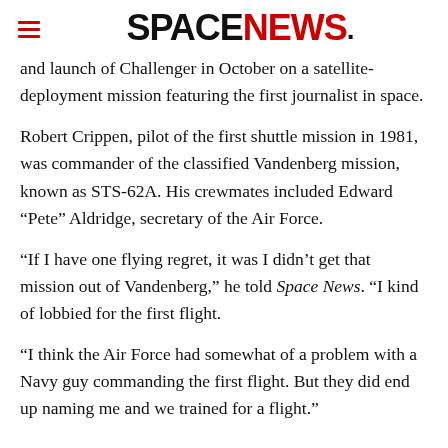SPACENEWS
and launch of Challenger in October on a satellite-deployment mission featuring the first journalist in space.
Robert Crippen, pilot of the first shuttle mission in 1981, was commander of the classified Vandenberg mission, known as STS-62A. His crewmates included Edward “Pete” Aldridge, secretary of the Air Force.
“If I have one flying regret, it was I didn’t get that mission out of Vandenberg,” he told Space News. “I kind of lobbied for the first flight.
“I think the Air Force had somewhat of a problem with a Navy guy commanding the first flight. But they did end up naming me and we trained for a flight.”